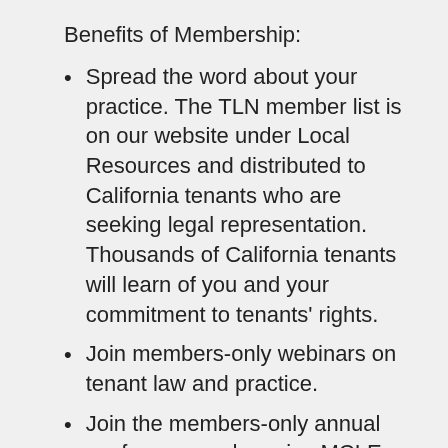Benefits of Membership:
Spread the word about your practice. The TLN member list is on our website under Local Resources and distributed to California tenants who are seeking legal representation. Thousands of California tenants will learn of you and your commitment to tenants' rights.
Join members-only webinars on tenant law and practice.
Join the members-only annual conference and receive MCLE credits
Obtain technical assistance from other network members
Meet, mentor and inspire other